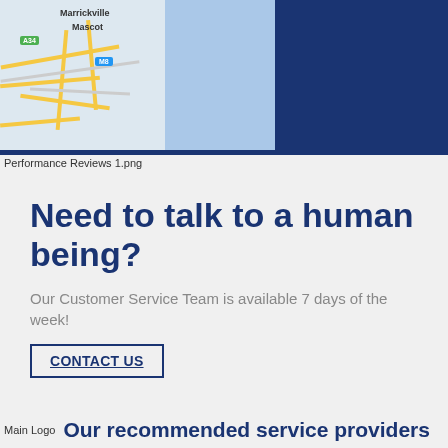[Figure (map): Street map showing Marrickville and Mascot area with roads A34 and M8, alongside dark navy blue background panel]
Performance Reviews 1.png
Need to talk to a human being?
Our Customer Service Team is available 7 days of the week!
CONTACT US
Our recommended service providers
[Figure (logo): Main Logo placeholder image]